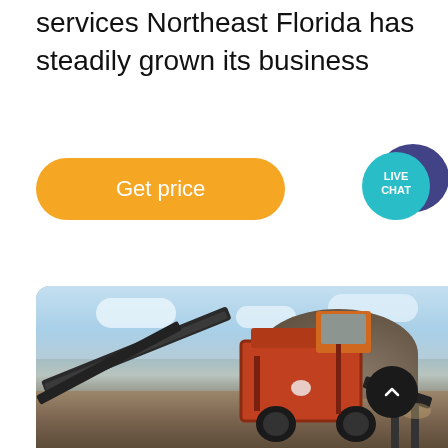services Northeast Florida has steadily grown its business
[Figure (other): Orange rounded 'Get price' call-to-action button]
[Figure (other): Live Chat speech bubble icon in teal/blue]
[Figure (photo): Outdoor photograph of a large industrial rock crushing / screening machine on a dirt worksite, with blue sky and clouds in the background and a pile of aggregate material to the right]